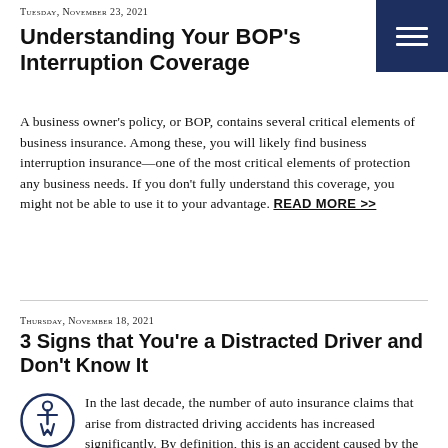Tuesday, November 23, 2021
Understanding Your BOP's Interruption Coverage
A business owner's policy, or BOP, contains several critical elements of business insurance. Among these, you will likely find business interruption insurance—one of the most critical elements of protection any business needs. If you don't fully understand this coverage, you might not be able to use it to your advantage. READ MORE >>
Thursday, November 18, 2021
3 Signs that You're a Distracted Driver and Don't Know It
[Figure (illustration): Accessibility icon: a circular badge with a person/wheelchair symbol in blue outline]
In the last decade, the number of auto insurance claims that arise from distracted driving accidents has increased significantly. By definition, this is an accident caused by the fact that the involved driver wasn't paying attention to the road.